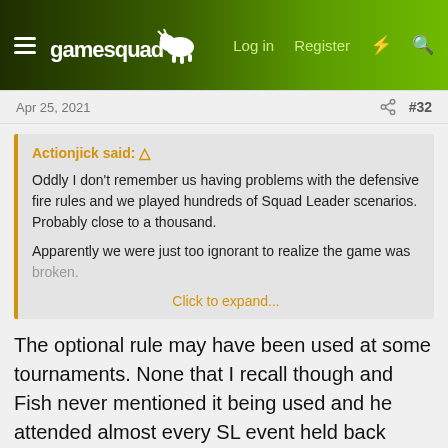gamesquad | Log in | Register
Apr 25, 2021 #32
Actionjick said: ↑

Oddly I don't remember us having problems with the defensive fire rules and we played hundreds of Squad Leader scenarios. Probably close to a thousand.

Apparently we were just too ignorant to realize the game was broken.

Click to expand...
The optional rule may have been used at some tournaments. None that I recall though and Fish never mentioned it being used and he attended almost every SL event held back then.